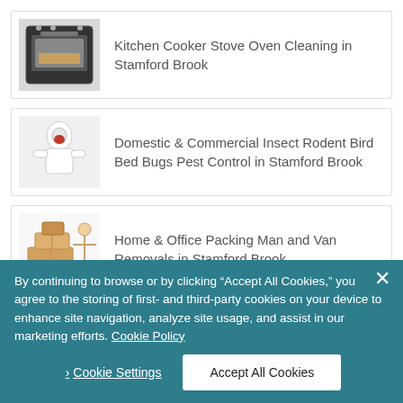Kitchen Cooker Stove Oven Cleaning in Stamford Brook
Domestic & Commercial Insect Rodent Bird Bed Bugs Pest Control in Stamford Brook
Home & Office Packing Man and Van Removals in Stamford Brook
Waste Disposal House Clearance Rubbish Removal in Stamford Brook
By continuing to browse or by clicking “Accept All Cookies,” you agree to the storing of first- and third-party cookies on your device to enhance site navigation, analyze site usage, and assist in our marketing efforts. Cookie Policy